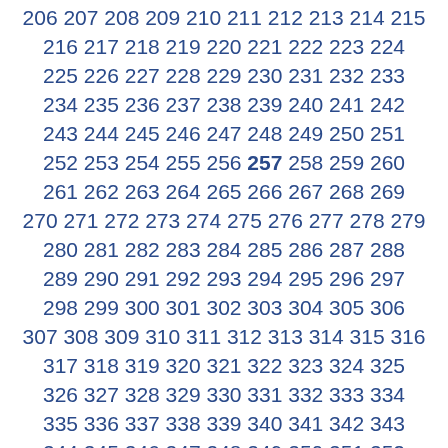206 207 208 209 210 211 212 213 214 215 216 217 218 219 220 221 222 223 224 225 226 227 228 229 230 231 232 233 234 235 236 237 238 239 240 241 242 243 244 245 246 247 248 249 250 251 252 253 254 255 256 257 258 259 260 261 262 263 264 265 266 267 268 269 270 271 272 273 274 275 276 277 278 279 280 281 282 283 284 285 286 287 288 289 290 291 292 293 294 295 296 297 298 299 300 301 302 303 304 305 306 307 308 309 310 311 312 313 314 315 316 317 318 319 320 321 322 323 324 325 326 327 328 329 330 331 332 333 334 335 336 337 338 339 340 341 342 343 344 345 346 347 348 349 350 351 352 353 354 355 356 357 358 359 360 361 362 363 364 365 366 367 368 369 370 371 372 373 374 375 376 377 378 379 380 381 382 383 384 385 386 387 388 389 390 391 392 393 394 395 396 397 398 399 400 401 402 403 404 405 406